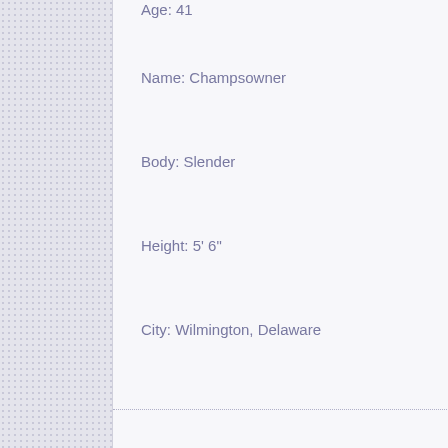Age: 41
Name: Champsowner
Body: Slender
Height: 5' 6"
City: Wilmington, Delaware